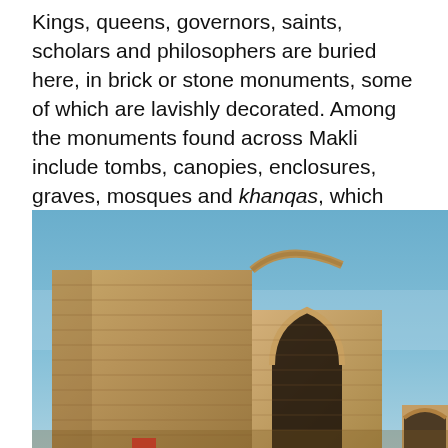Kings, queens, governors, saints, scholars and philosophers are buried here, in brick or stone monuments, some of which are lavishly decorated. Among the monuments found across Makli include tombs, canopies, enclosures, graves, mosques and khanqas, which are learning spaces where saints would teach and preach to their disciples.
[Figure (photo): Photograph of ancient ruined brick monument at Makli necropolis, showing a large square tower-like structure with a partial pointed arch opening, under a clear blue sky. Sandy brown brick texture throughout. Another smaller arch visible in the far right background.]